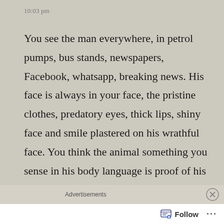10:03 pm
You see the man everywhere, in petrol pumps, bus stands, newspapers, Facebook, whatsapp, breaking news. His face is always in your face, the pristine clothes, predatory eyes, thick lips, shiny face and smile plastered on his wrathful face. You think the animal something you sense in his body language is proof of his powerful personality.
Sometimes the mind tries to make up stuff
Advertisements